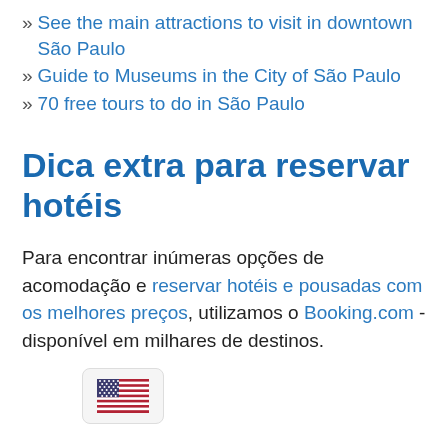» See the main attractions to visit in downtown São Paulo
» Guide to Museums in the City of São Paulo
» 70 free tours to do in São Paulo
Dica extra para reservar hotéis
Para encontrar inúmeras opções de acomodação e reservar hotéis e pousadas com os melhores preços, utilizamos o Booking.com - disponível em milhares de destinos.
[Figure (illustration): US flag icon inside a rounded rectangle button]